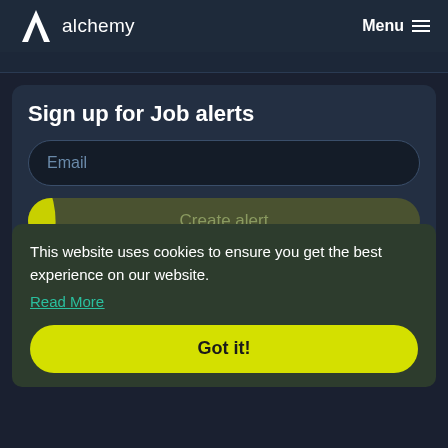alchemy  Menu
Sign up for Job alerts
Email
Create alert
By sub
This website uses cookies to ensure you get the best experience on our website.
Read More
Got it!
Similar Jobs
Global Mobility Consultant